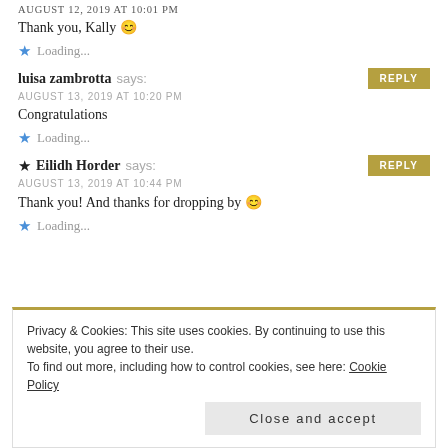AUGUST 12, 2019 AT 10:01 PM
Thank you, Kally 😊
★ Loading...
luisa zambrotta says: AUGUST 13, 2019 AT 10:20 PM
Congratulations
★ Loading...
★ Eilidh Horder says: AUGUST 13, 2019 AT 10:44 PM
Thank you! And thanks for dropping by 😊
★ Loading...
Privacy & Cookies: This site uses cookies. By continuing to use this website, you agree to their use.
To find out more, including how to control cookies, see here: Cookie Policy
Close and accept